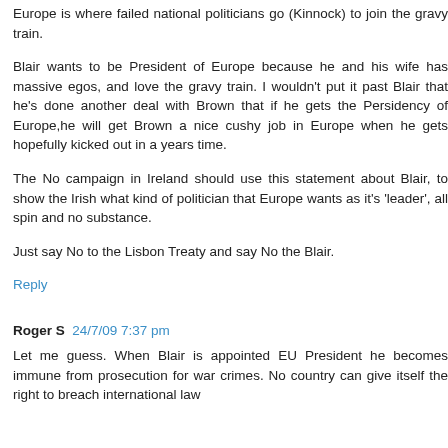Europe is where failed national politicians go (Kinnock) to join the gravy train.
Blair wants to be President of Europe because he and his wife has massive egos, and love the gravy train. I wouldn't put it past Blair that he's done another deal with Brown that if he gets the Persidency of Europe,he will get Brown a nice cushy job in Europe when he gets hopefully kicked out in a years time.
The No campaign in Ireland should use this statement about Blair, to show the Irish what kind of politician that Europe wants as it's 'leader', all spin and no substance.
Just say No to the Lisbon Treaty and say No the Blair.
Reply
Roger S  24/7/09 7:37 pm
Let me guess. When Blair is appointed EU President he becomes immune from prosecution for war crimes. No country can give itself the right to breach international law